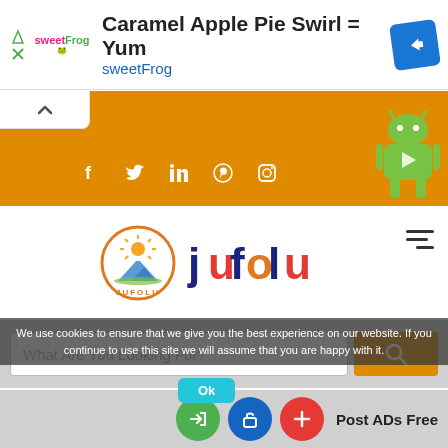[Figure (screenshot): Advertisement banner for sweetFrog frozen yogurt: 'Caramel Apple Pie Swirl = Yum' with sweetFrog logo and directions icon]
[Figure (screenshot): Orange social media bar with Facebook, Twitter, LinkedIn, Pinterest, Instagram icons and Android robot mascot, with collapse button]
[Figure (logo): Jufolu website logo with mountain/sun circle graphic and colorful 'jufolu' text]
We use cookies to ensure that we give you the best experience on our website. If you continue to use this site we will assume that you are happy with it.
What Are You Looking For?
Ok
Post ADs Free